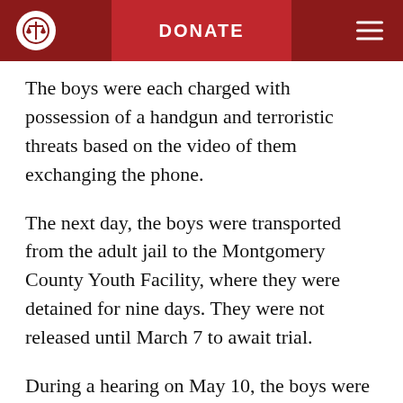DONATE
The boys were each charged with possession of a handgun and terroristic threats based on the video of them exchanging the phone.
The next day, the boys were transported from the adult jail to the Montgomery County Youth Facility, where they were detained for nine days. They were not released until March 7 to await trial.
During a hearing on May 10, the boys were acquitted of the charges. An investigating officer at the hearing testified that no gun was ever